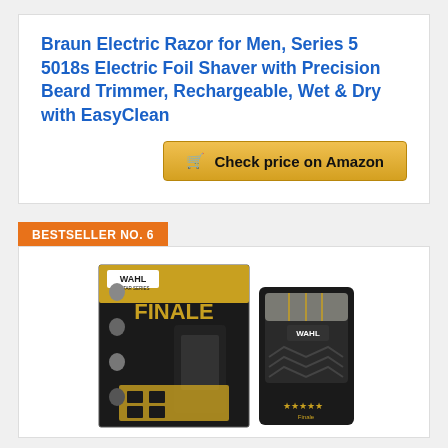Braun Electric Razor for Men, Series 5 5018s Electric Foil Shaver with Precision Beard Trimmer, Rechargeable, Wet & Dry with EasyClean
[Figure (other): Check price on Amazon button with shopping cart icon, gold/yellow gradient background]
BESTSELLER NO. 6
[Figure (photo): Wahl Finale 5-Star Series electric shaver product photo showing the box packaging (black and gold, with men's faces on the box) and the device itself (black metallic foil shaver with star logo and 'Finale' text)]